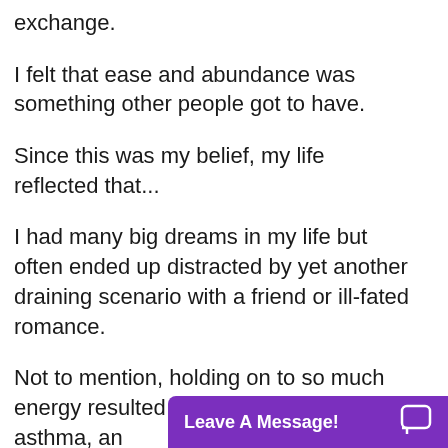exchange.
I felt that ease and abundance was something other people got to have.
Since this was my belief, my life reflected that...
I had many big dreams in my life but often ended up distracted by yet another draining scenario with a friend or ill-fated romance.
Not to mention, holding on to so much energy resulted in struggles w... asthma, and...
[Figure (screenshot): Purple chat widget button at bottom right with text 'Leave A Message!' and a speech bubble icon]